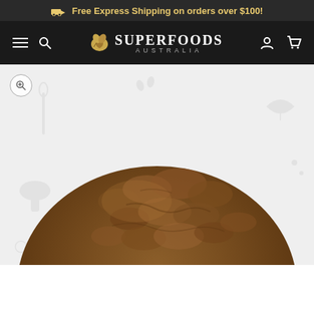Free Express Shipping on orders over $100!
[Figure (logo): Superfoods Australia logo with leaf icon and navigation bar including hamburger menu, search, user account and cart icons]
[Figure (photo): Close-up photograph of a mound of brown superfood powder (likely cacao or similar) with a textured lumpy surface, on a light background with faint food illustration pattern]